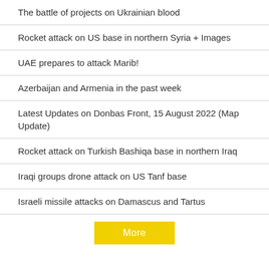The battle of projects on Ukrainian blood
Rocket attack on US base in northern Syria + Images
UAE prepares to attack Marib!
Azerbaijan and Armenia in the past week
Latest Updates on Donbas Front, 15 August 2022 (Map Update)
Rocket attack on Turkish Bashiqa base in northern Iraq
Iraqi groups drone attack on US Tanf base
Israeli missile attacks on Damascus and Tartus
More